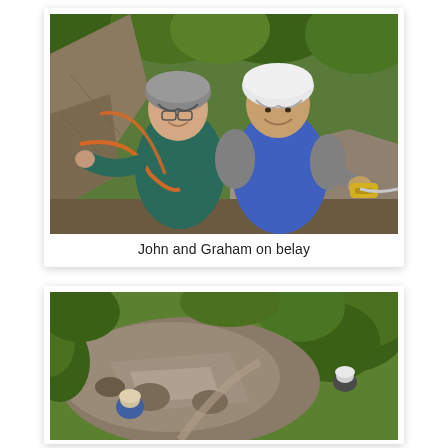[Figure (photo): Two men wearing climbing helmets smiling at camera on a rock face with trees in background. One in dark teal t-shirt holding an orange rope, the other in blue and grey shirt holding climbing equipment.]
John and Graham on belay
[Figure (photo): Aerial/high-angle view of a rocky climbing area or gorge with trees, two people visible at the bottom near rocks.]